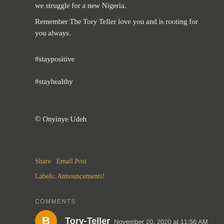we struggle for a new Nigeria.
Remember The Tory Teller love you and is rooting for you always.
#staypositive
#stayhealthy
© Onyinye Udeh
Share   Email Post
Labels: Announcements!
COMMENTS
Tory-Teller  November 20, 2020 at 11:56 AM